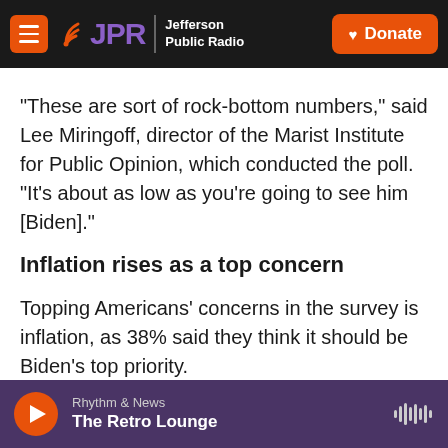JPR Jefferson Public Radio | Donate
"These are sort of rock-bottom numbers," said Lee Miringoff, director of the Marist Institute for Public Opinion, which conducted the poll. "It's about as low as you're going to see him [Biden]."
Inflation rises as a top concern
Topping Americans' concerns in the survey is inflation, as 38% said they think it should be Biden's top priority.
That far outpaces other issues, including the pandemic — which just 11% said they think should be his top priority — voting laws (11%), foreign
Rhythm & News | The Retro Lounge